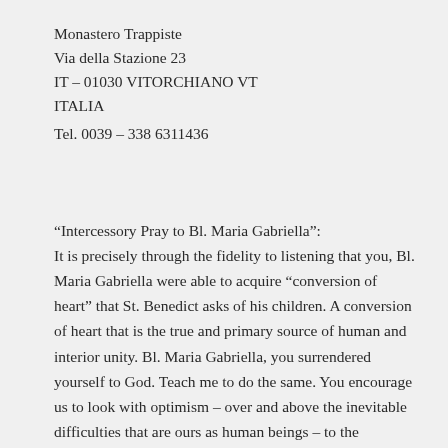Monastero Trappiste
Via della Stazione 23
IT – 01030 VITORCHIANO VT
ITALIA
Tel. 0039 – 338 6311436
“Intercessory Pray to Bl. Maria Gabriella”:
It is precisely through the fidelity to listening that you, Bl. Maria Gabriella were able to acquire “conversion of heart” that St. Benedict asks of his children. A conversion of heart that is the true and primary source of human and interior unity. Bl. Maria Gabriella, you surrendered yourself to God. Teach me to do the same. You encourage us to look with optimism – over and above the inevitable difficulties that are ours as human beings – to the marvelous prospects of unity, and the desire to be converted to Christ. I beseech You, O Lord, that we may be assisted by the merits of Bl. Maria Gabriella, so that we may come to enjoy...